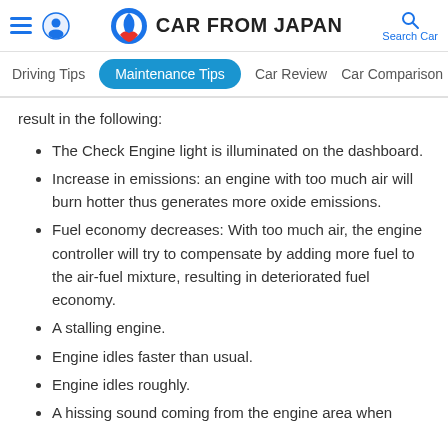CAR FROM JAPAN
Driving Tips | Maintenance Tips | Car Review | Car Comparison
result in the following:
The Check Engine light is illuminated on the dashboard.
Increase in emissions: an engine with too much air will burn hotter thus generates more oxide emissions.
Fuel economy decreases: With too much air, the engine controller will try to compensate by adding more fuel to the air-fuel mixture, resulting in deteriorated fuel economy.
A stalling engine.
Engine idles faster than usual.
Engine idles roughly.
A hissing sound coming from the engine area when